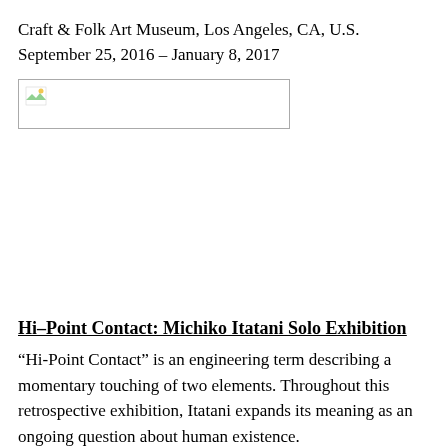Craft & Folk Art Museum, Los Angeles, CA, U.S.
September 25, 2016 – January 8, 2017
[Figure (photo): Broken image placeholder showing a small landscape icon in the top-left corner of a rectangular bordered box]
Hi–Point Contact: Michiko Itatani Solo Exhibition
“Hi-Point Contact” is an engineering term describing a momentary touching of two elements. Throughout this retrospective exhibition, Itatani expands its meaning as an ongoing question about human existence.
Zhou B Art Center, Chicago, IL, U.S.